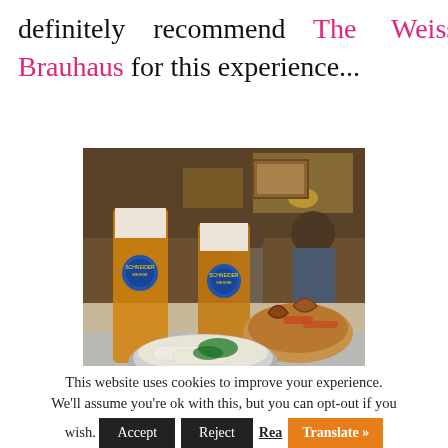definitely recommend The Weisses Brauhaus for this experience...
[Figure (photo): Two tall glasses of wheat beer (Weissbier) with blue Schneider Weisse logos, served alongside a basket of pretzels and sausages, and a bowl with white sausages (Weisswurst) with herbs, in a traditional Bavarian restaurant setting.]
This website uses cookies to improve your experience. We'll assume you're ok with this, but you can opt-out if you wish. Accept Reject Read... Translate »